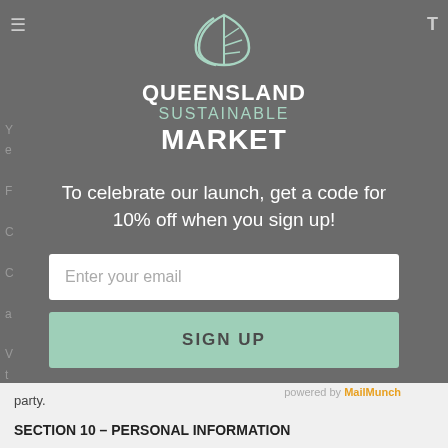[Figure (logo): Queensland Sustainable Market logo with leaf icon and text on dark teal background, with email sign-up form below]
To celebrate our launch, get a code for 10% off when you sign up!
Enter your email
SIGN UP
powered by MailMunch
party.
SECTION 10 – PERSONAL INFORMATION